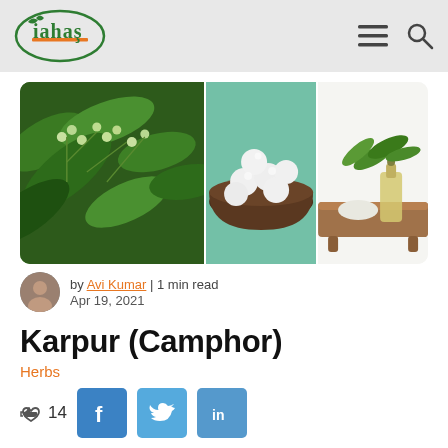iahas – navigation header with logo, hamburger menu, and search icon
[Figure (photo): Hero image strip showing three panels: camphor tree with green berries, camphor balls in a wooden bowl, and camphor leaves with an oil bottle]
by Avi Kumar | 1 min read
Apr 19, 2021
Karpur (Camphor)
Herbs
14 [thumbs up] [Facebook share] [Twitter share] [LinkedIn share]